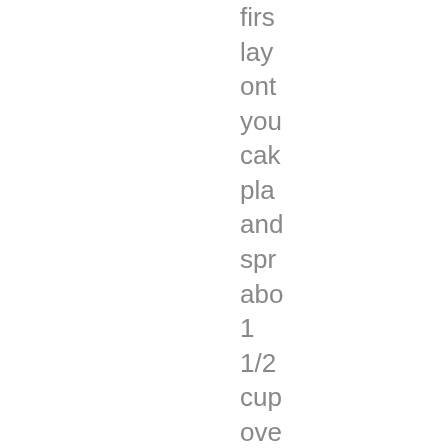firs lay ont you cak pla and spr abo 1 1/2 cup ove the top Co doi this for